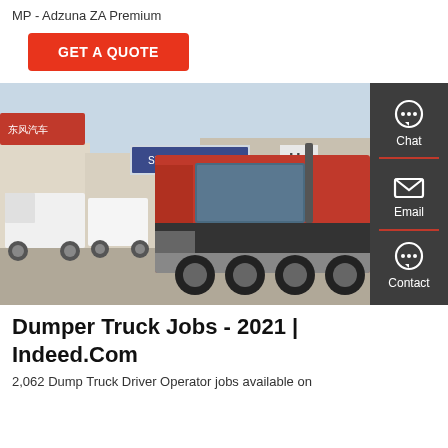MP - Adzuna ZA Premium
[Figure (other): Red GET A QUOTE button]
[Figure (photo): Red SINOTRUK heavy dump truck cab parked at a truck dealership lot with multiple white trucks and signage in Chinese including SINOTRUK branding. Side panel with Chat, Email, and Contact icons on dark grey background.]
Dumper Truck Jobs - 2021 | Indeed.Com
2,062 Dump Truck Driver Operator jobs available on